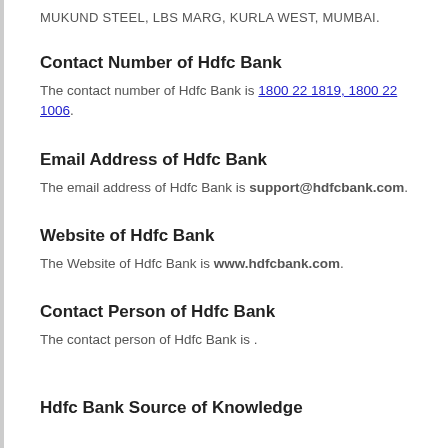MUKUND STEEL, LBS MARG, KURLA WEST, MUMBAI.
Contact Number of Hdfc Bank
The contact number of Hdfc Bank is 1800 22 1819, 1800 22 1006.
Email Address of Hdfc Bank
The email address of Hdfc Bank is support@hdfcbank.com.
Website of Hdfc Bank
The Website of Hdfc Bank is www.hdfcbank.com.
Contact Person of Hdfc Bank
The contact person of Hdfc Bank is .
Hdfc Bank Source of Knowledge